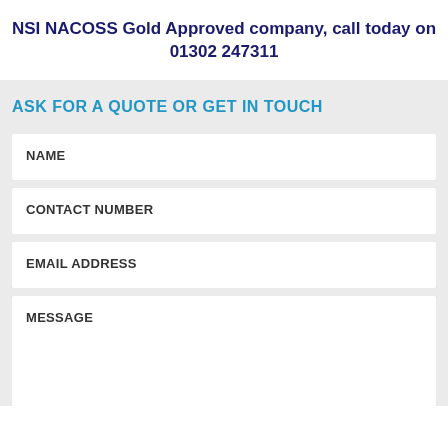NSI NACOSS Gold Approved company, call today on 01302 247311
ASK FOR A QUOTE OR GET IN TOUCH
NAME
CONTACT NUMBER
EMAIL ADDRESS
MESSAGE